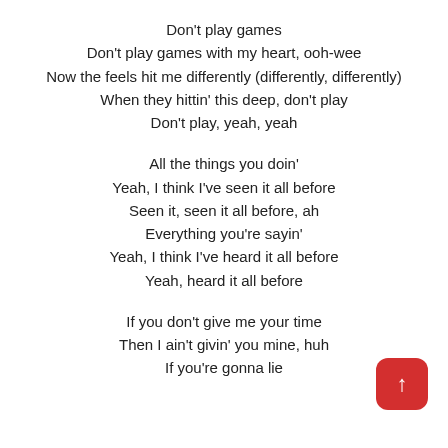Don't play games
Don't play games with my heart, ooh-wee
Now the feels hit me differently (differently, differently)
When they hittin' this deep, don't play
Don't play, yeah, yeah
All the things you doin'
Yeah, I think I've seen it all before
Seen it, seen it all before, ah
Everything you're sayin'
Yeah, I think I've heard it all before
Yeah, heard it all before
If you don't give me your time
Then I ain't givin' you mine, huh
If you're gonna lie